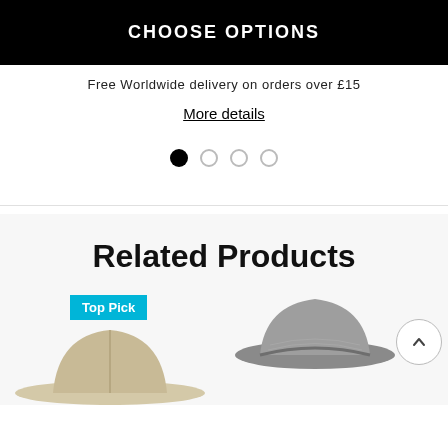CHOOSE OPTIONS
Free Worldwide delivery on orders over £15
More details
[Figure (other): Pagination dots: one filled black circle followed by three empty circles]
Related Products
[Figure (photo): Two hats side by side: left is a wide-brimmed beige/cream fedora-style hat with a 'Top Pick' cyan badge, right is a grey structured hat/visor. A scroll-up arrow button is visible on the right edge.]